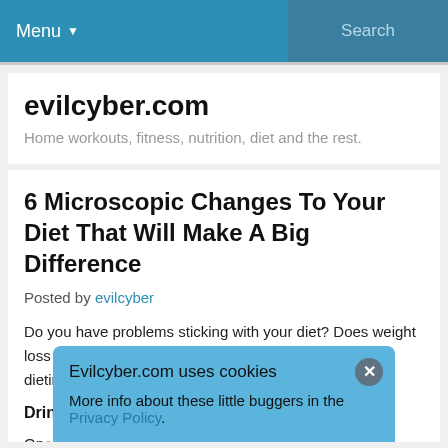Menu ▾   Search
evilcyber.com
Home workouts, fitness, nutrition, diet and the rest.
6 Microscopic Changes To Your Diet That Will Make A Big Difference
Posted by evilcyber
Do you have problems sticking with your diet? Does weight loss just not happen? Are you unsure how to start your dieting journey? Try these small changes.
Drink Water
On... the... [cookie overlay partially obscures remaining text]
Evilcyber.com uses cookies
More info about these little buggers in the Privacy Policy.